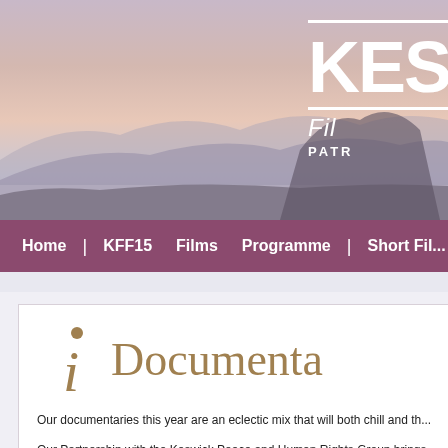[Figure (photo): Keswick Film Festival banner header with misty lake and mountain landscape at dawn, pink and purple sky, with KES... Film Festival logo and white lines on right side]
Home | KFF15 Films Programme | Short Fil...
Documenta...
Our documentaries this year are an eclectic mix that will both chill and th...
Our Partnership with the Keswick Peace and Human Rights Group brings... Myanmar) and Palestine (5 Broken Cameras) both with a post screening... Sound Film of the Year) recalls a dark time in Indonesia's history, albeit...